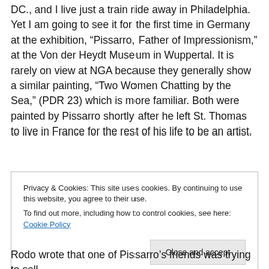DC., and I live just a train ride away in Philadelphia.  Yet I am going to see it for the first time in Germany at the exhibition, “Pissarro, Father of Impressionism,” at the Von der Heydt Museum in Wuppertal. It is rarely on view at NGA because they generally show a similar painting, “Two Women Chatting by the Sea,” (PDR 23) which is more familiar. Both were painted by Pissarro shortly after he left St. Thomas to live in France for the rest of his life to be an artist.
Privacy & Cookies: This site uses cookies. By continuing to use this website, you agree to their use.
To find out more, including how to control cookies, see here: Cookie Policy
Close and accept
Rodo wrote that one of Pissarro’s friends was trying to sell